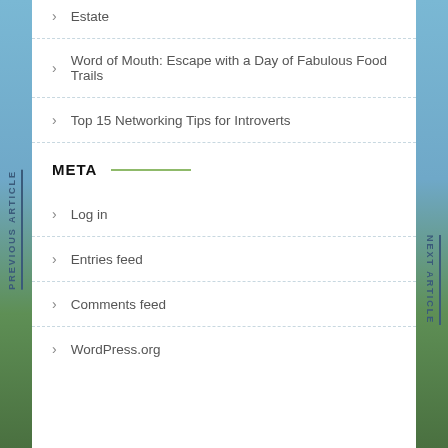Estate
Word of Mouth: Escape with a Day of Fabulous Food Trails
Top 15 Networking Tips for Introverts
META
Log in
Entries feed
Comments feed
WordPress.org